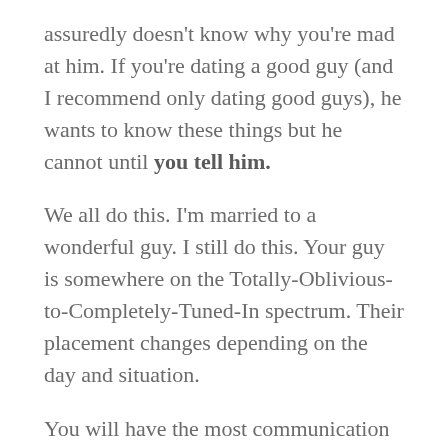assuredly doesn't know why you're mad at him. If you're dating a good guy (and I recommend only dating good guys), he wants to know these things but he cannot until you tell him.
We all do this. I'm married to a wonderful guy. I still do this. Your guy is somewhere on the Totally-Oblivious-to-Completely-Tuned-In spectrum. Their placement changes depending on the day and situation.
You will have the most communication success if you: 1) express your need out loud 2) with words 3) in English 4) to their face 5) while looking into their eyeballs 6) in ten